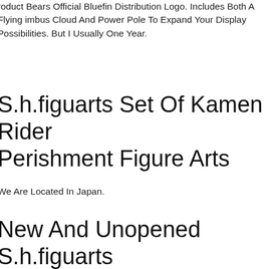roduct Bears Official Bluefin Distribution Logo. Includes Both A Flying imbus Cloud And Power Pole To Expand Your Display Possibilities. But I Usually One Year.
S.h.figuarts Set Of Kamen Rider Perishment Figure Arts
We Are Located In Japan.
New And Unopened S.h.figuarts Spider Man Iron Spider Black Gold Iron Man Hul
ew Bandai S.h.figuarts Shin Ultraman Action Figure.